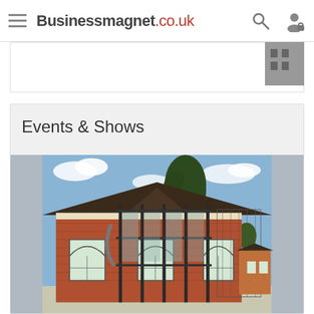Businessmagnet.co.uk
[Figure (screenshot): Partial content card with 'Read' text and thumbnail image, cut off at top of page]
Events & Shows
[Figure (photo): Photograph of a red brick building with arched windows and a dark metal frame structure in front, trees and blue sky in the background]